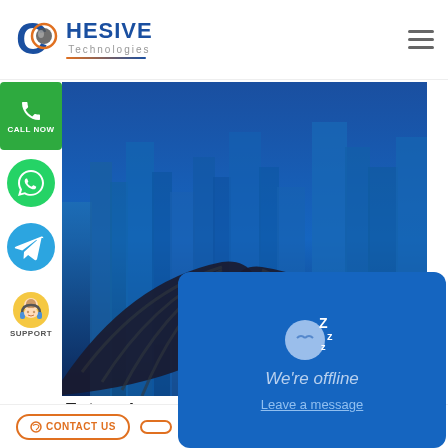[Figure (logo): Cohesive Technologies logo with stylized ball icon and company name]
[Figure (photo): Hero banner image showing a cityscape and handshake in blue tones]
[Figure (infographic): Side floating buttons: CALL NOW (green), WhatsApp, Telegram, SUPPORT]
[Figure (screenshot): We're offline chat popup with sleeping emoji and Leave a message link]
Enterprise
CONTACT US